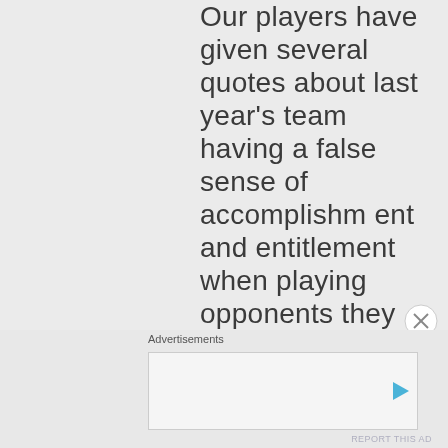Our players have given several quotes about last year's team having a false sense of accomplishment and entitlement when playing opponents they viewed
Advertisements
[Figure (other): Advertisement box with a play button icon]
REPORT THIS AD